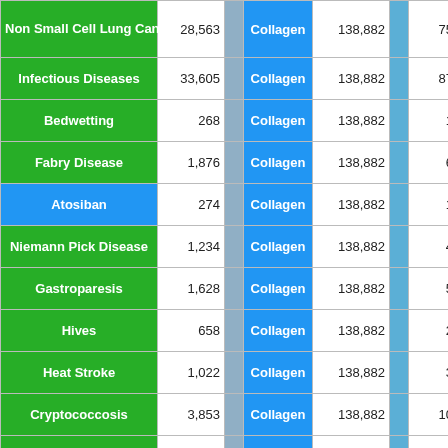| Disease | Count1 |  | Protein | Count2 |  | Score |  |
| --- | --- | --- | --- | --- | --- | --- | --- |
| Non Small Cell Lung Cancer | 28,563 |  | Collagen | 138,882 |  | 75 |  |
| Infectious Diseases | 33,605 |  | Collagen | 138,882 |  | 87 |  |
| Bedwetting | 268 |  | Collagen | 138,882 |  | 1 |  |
| Fabry Disease | 1,876 |  | Collagen | 138,882 |  | 6 |  |
| Atosiban | 274 |  | Collagen | 138,882 |  | 1 |  |
| Niemann Pick Disease | 1,234 |  | Collagen | 138,882 |  | 4 |  |
| Gastroparesis | 1,628 |  | Collagen | 138,882 |  | 5 |  |
| Hives | 658 |  | Collagen | 138,882 |  | 2 |  |
| Heat Stroke | 1,022 |  | Collagen | 138,882 |  | 3 |  |
| Cryptococcosis | 3,853 |  | Collagen | 138,882 |  | 10 |  |
| Allergies | 10,264 |  | Collagen | 138,882 |  | 25 |  |
| Mydriasis | 1,907 |  | Collagen | 138,882 |  | 5 |  |